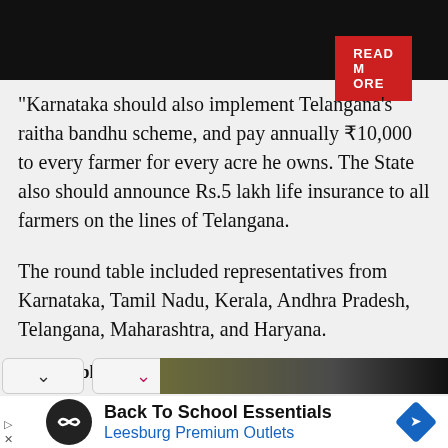READ MORE
"Karnataka should also implement Telangana's raitha bandhu scheme, and pay annually ₹10,000 to every farmer for every acre he owns. The State also should announce Rs.5 lakh life insurance to all farmers on the lines of Telangana.
The round table included representatives from Karnataka, Tamil Nadu, Kerala, Andhra Pradesh, Telangana, Maharashtra, and Haryana.
First published on: 21 Mar 2022, 02:21 IST
[Figure (screenshot): Advertisement banner: Back To School Essentials - Leesburg Premium Outlets]